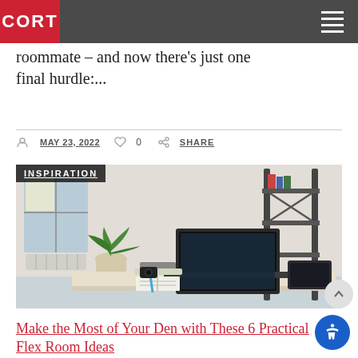CORT
roommate – and now there's just one final hurdle:...
MAY 23, 2022   0   SHARE
[Figure (photo): Office desk scene with laptop, plant, notebook, and shelves in background. Badge reading INSPIRATION overlay at top left.]
Make the Most of Your Den with These 6 Practical Flex Room Ideas
Buying or renting? Either way, you'd all...